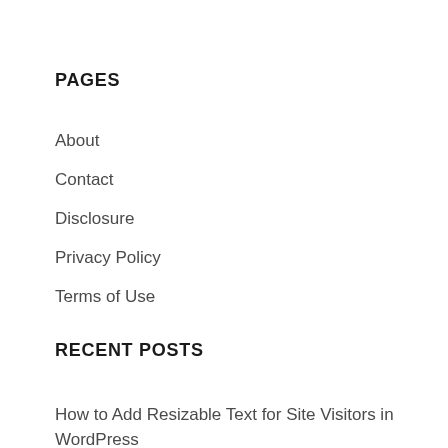PAGES
About
Contact
Disclosure
Privacy Policy
Terms of Use
RECENT POSTS
How to Add Resizable Text for Site Visitors in WordPress